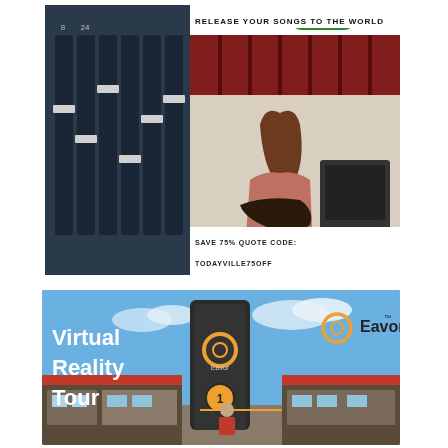[Figure (advertisement): JetStream and Todayville advertisement. Shows logos of JetStream (with red swirl icon) and Todayville (green rounded rectangle logo). Text reads 'RELEASE YOUR SONGS TO THE WORLD'. Background image shows a close-up of a mixing board/faders on the left, and a guitarist with long hair playing electric guitar in a recording studio with acoustic foam panels, amplifiers in the background. Bottom text reads 'SAVE 75% QUOTE CODE: TODAYVILLE75OFF']
[Figure (advertisement): Eavor Virtual Reality Tour advertisement. Large text 'Virtual Reality Tour' on left side in white bold font. Eavor logo (circular ring icon) appears twice - on a dark cylindrical geothermal well structure in center and top right. Background shows a sky-blue sky with industrial/geothermal facility buildings. A numbered marker '1' appears on the cylinder. A person in red top is visible at bottom center.]